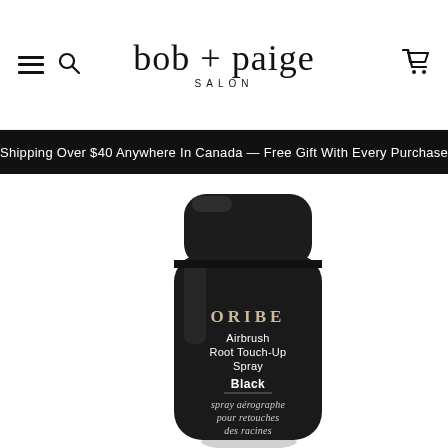[Figure (logo): bob + paige SALON logo in serif font with navigation icons (hamburger menu, search, cart)]
Shipping Over $40 Anywhere In Canada — Free Gift With Every Purchase
[Figure (photo): Black aerosol spray can with ORIBE branding reading 'Airbrush Root Touch-Up Spray Black / spray aérographe pour retouches des racines / noir']